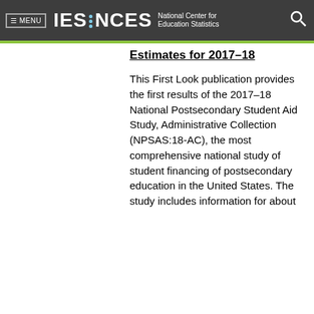≡ MENU  IES · NCES National Center for Education Statistics
Estimates for 2017–18
This First Look publication provides the first results of the 2017–18 National Postsecondary Student Aid Study, Administrative Collection (NPSAS:18-AC), the most comprehensive national study of student financing of postsecondary education in the United States. The study includes information for about